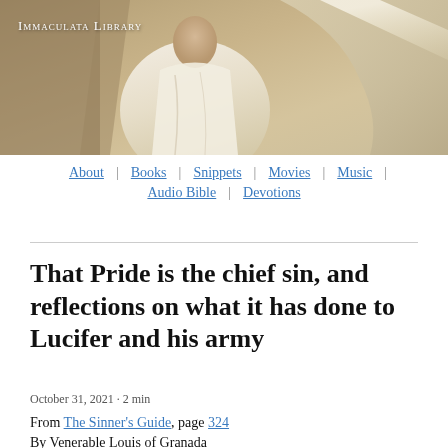[Figure (illustration): Painting of a robed religious figure (likely a saint or bishop) in white robes, with a background of curtains and light, bearing the Immaculata Library header text]
Immaculata Library
About | Books | Snippets | Movies | Music | Audio Bible | Devotions
That Pride is the chief sin, and reflections on what it has done to Lucifer and his army
October 31, 2021 · 2 min
From The Sinner's Guide, page 324
By Venerable Louis of Granada